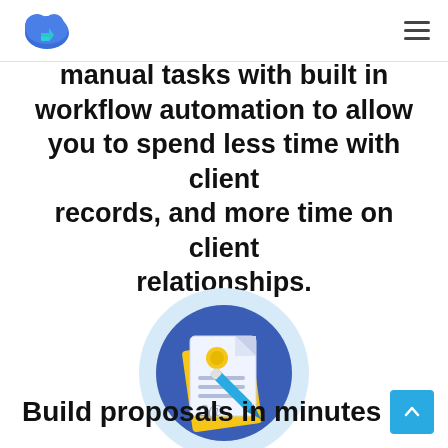[Logo] [Hamburger menu]
manual tasks with built in workflow automation to allow you to spend less time with client records, and more time on client relationships.
[Figure (illustration): Circular illustration with a light blue outer ring and dark blue inner circle containing a document with lines of text, a gold seal/badge, a yellow folder behind it, and a blue pen writing on it — representing proposal or document workflow.]
Build proposals in minutes